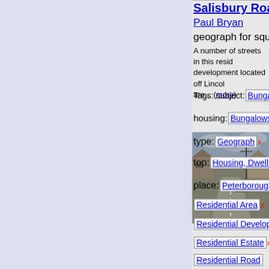[Figure (photo): Street view photo of Salisbury Road residential area showing bungalows and road under cloudy sky]
Salisbury Road, Werrin... (title, truncated)
Paul Bryan
geograph for square TF1
A number of streets in this residential development located off Lincoln... are... (more)
Tags: subject: Bungalow x
housing: Bungalows x  Bun...
type: Geograph x
top: Housing, Dwellings x
place: Peterborough x
Residential Area x
Residential Development x
Residential Estate x
Residential Road
Residential Street x
top: Suburb, Urban Fringe x
Priory Gardens, Highga... (title, truncated)
Malc McDonald
geograph for square TO2